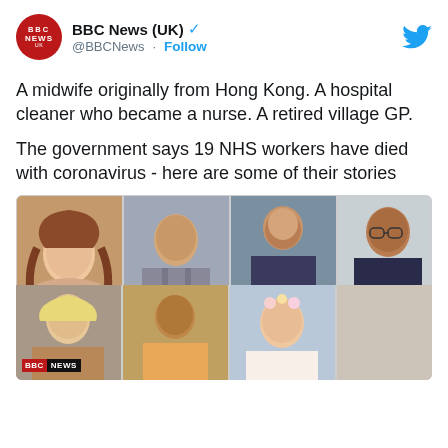BBC News (UK) @BBCNews · Follow
A midwife originally from Hong Kong. A hospital cleaner who became a nurse. A retired village GP.

The government says 19 NHS workers have died with coronavirus - here are some of their stories
[Figure (photo): A collage of 7 photos of NHS workers who died with coronavirus. Top row: a middle-aged man, a young woman with long auburn hair, a tall man in a grey suit (spanning both rows), an older South Asian man in glasses. Middle-left: an older man in a pink shirt. Bottom row: a blonde woman, a man in a chair, a woman with flowers in her hair, an older South Asian man in a suit with a red poppy. BBC NEWS logo overlay on bottom-left photo.]